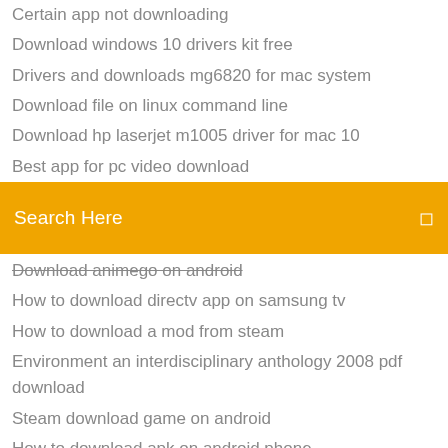Certain app not downloading
Download windows 10 drivers kit free
Drivers and downloads mg6820 for mac system
Download file on linux command line
Download hp laserjet m1005 driver for mac 10
Best app for pc video download
[Figure (screenshot): Search bar with orange background, text 'Search Here' in white, and a small icon on the right]
Download animego on android
How to download directv app on samsung tv
How to download a mod from steam
Environment an interdisciplinary anthology 2008 pdf download
Steam download game on android
How to download apk on android phone
Downloaded .mov file that cannot be deleted mac
Torrent download nfl full game
Looney tunes cool cat torrent download
Stargate ep 2 apk download